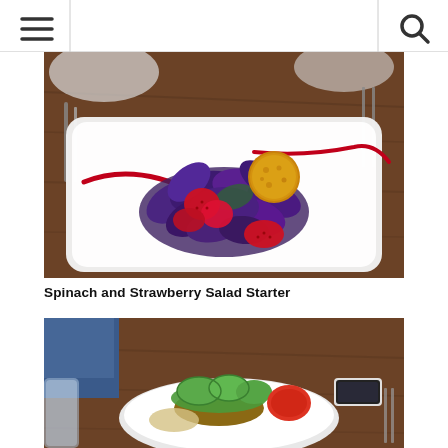[Figure (photo): A restaurant plate with spinach and strawberry salad starter on a white rectangular plate with red sauce streaks, purple spinach leaves, strawberry slices, and a golden fried ball on top]
Spinach and Strawberry Salad Starter
[Figure (photo): A restaurant table scene showing a burger or sandwich dish on a white plate with cucumber slices, tomato, and other garnishes, with a smartphone visible on the wooden table]